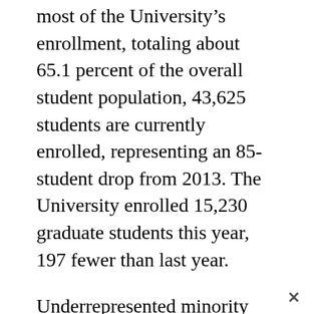most of the University's enrollment, totaling about 65.1 percent of the overall student population, 43,625 students are currently enrolled, representing an 85-student drop from 2013. The University enrolled 15,230 graduate students this year, 197 fewer than last year.
Underrepresented minority students make up 10 percent of this year's freshman class, a slight decline from 10.6 percent in fall 2013. However, the number of underrepresented minority students in the freshman class has remained roughly the same because this year's larger class size caused their